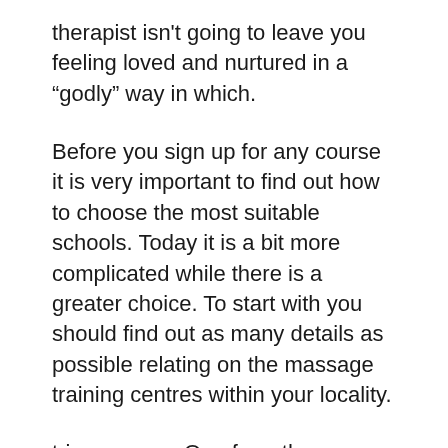therapist isn't going to leave you feeling loved and nurtured in a “godly” way in which.
Before you sign up for any course it is very important to find out how to choose the most suitable schools. Today it is a bit more complicated while there is a greater choice. To start with you should find out as many details as possible relating on the massage training centres within your locality.
trip massage One from the wonderful associated with this chair is its emphasis close to feet and calves. High definition tv a total of 19 airbags with 14 of them dedicated for that feet and calves. You also find two airbags for the waist, two airbags for your